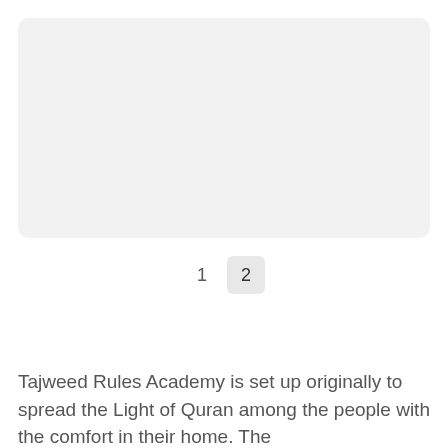[Figure (other): Light gray rounded rectangle placeholder image area]
1  2
Tajweed Rules Academy is set up originally to spread the Light of Quran among the people with the comfort in their home. The